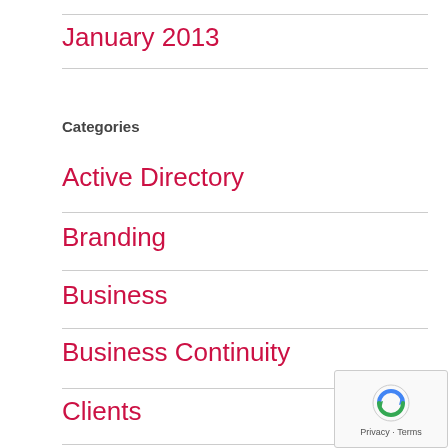January 2013
Categories
Active Directory
Branding
Business
Business Continuity
Clients
Cloud